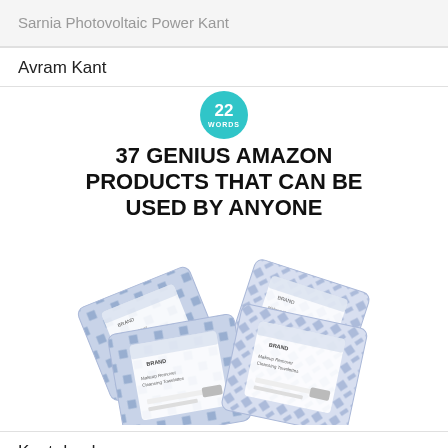Sarnia Photovoltaic Power Kant
Avram Kant
[Figure (illustration): Article thumbnail showing a teal badge with '22 WORDS', bold headline '37 GENIUS AMAZON PRODUCTS THAT CAN BE USED BY ANYONE', and product photo of multiple cleansing towelette packets with blue geometric pattern packaging.]
Kant deed
Haw T...